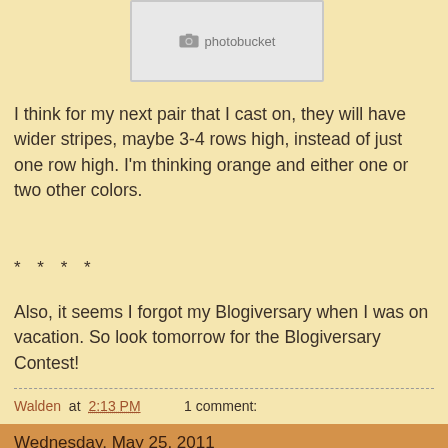[Figure (screenshot): Photobucket placeholder image with camera icon and 'photobucket' text on gray background]
I think for my next pair that I cast on, they will have wider stripes, maybe 3-4 rows high, instead of just one row high. I'm thinking orange and either one or two other colors.
* * * *
Also, it seems I forgot my Blogiversary when I was on vacation. So look tomorrow for the Blogiversary Contest!
Walden at 2:13 PM    1 comment:
Wednesday, May 25, 2011
Wookie's World